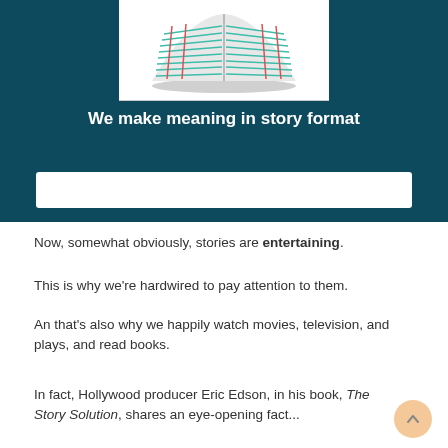[Figure (illustration): Open book illustration with teal horizontal lines and two red vertical lines on a white background within a dark teal banner]
We make meaning in story format
Now, somewhat obviously, stories are entertaining.
This is why we're hardwired to pay attention to them.
An that's also why we happily watch movies, television, and plays, and read books.
In fact, Hollywood producer Eric Edson, in his book, The Story Solution, shares an eye-opening fact...